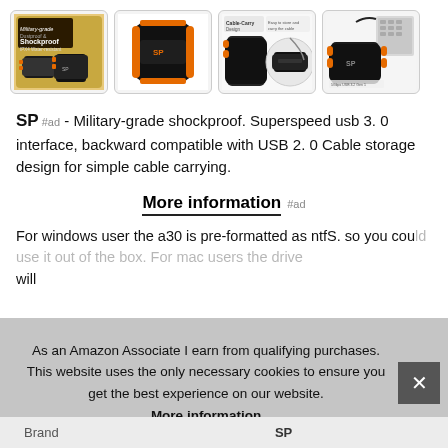[Figure (photo): Product gallery showing 4 thumbnail images of a portable external hard drive (Silicon Power Armor A30) with military-grade shockproof design, orange bumpers, and cable-carry design features.]
SP #ad - Military-grade shockproof. Superspeed usb 3. 0 interface, backward compatible with USB 2. 0 Cable storage design for simple cable carrying.
More information #ad
For windows user the a30 is pre-formatted as ntfS. so you could use it out of the box. For mac users the drive will
As an Amazon Associate I earn from qualifying purchases. This website uses the only necessary cookies to ensure you get the best experience on our website. More information
| Brand |  |
| --- | --- |
| Brand | SP |